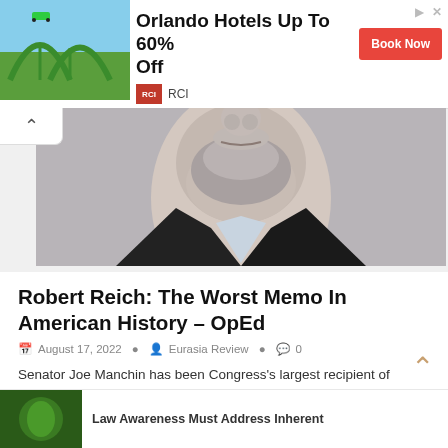[Figure (advertisement): RCI ad banner showing a rollercoaster with text 'Orlando Hotels Up To 60% Off' and a red 'Book Now' button]
[Figure (photo): Close-up photo of a middle-aged man's lower face and chin with a grey beard, wearing a dark suit]
Robert Reich: The Worst Memo In American History – OpEd
August 17, 2022   Eurasia Review   0
Senator Joe Manchin has been Congress's largest recipient of money from natural gas pipeline companies. He just reciprocated by gaining
[Figure (photo): Small green thumbnail image at the bottom left]
Law Awareness Must Address Inherent